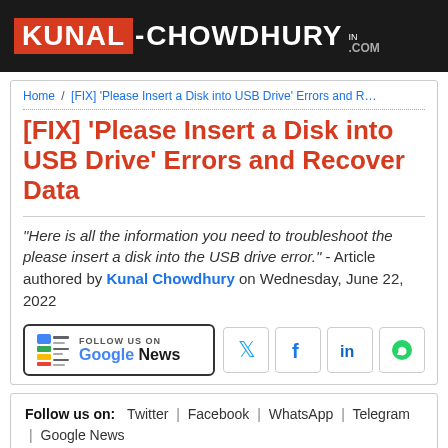KUNAL-CHOWDHURY .IN.COM
Home / [FIX] 'Please Insert a Disk into USB Drive' Errors and R…
[FIX] 'Please Insert a Disk into USB Drive' Errors and Recover Data
"Here is all the information you need to troubleshoot the please insert a disk into the USB drive error." - Article authored by Kunal Chowdhury on Wednesday, June 22, 2022
[Figure (logo): Follow us on Google News button]
[Figure (other): Social share icons: Twitter, Facebook, LinkedIn, WhatsApp]
Follow us on: Twitter | Facebook | WhatsApp | Telegram | Google News